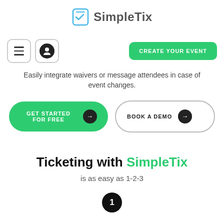[Figure (logo): SimpleTix logo with ticket/checkmark icon and 'SimpleTix' text in bold gray]
[Figure (screenshot): Navigation bar with hamburger menu icon button, user profile icon button on the left, and green 'CREATE YOUR EVENT' button on the right]
Easily integrate waivers or message attendees in case of event changes.
[Figure (screenshot): Two CTA buttons: green 'GET STARTED FOR FREE' with arrow, and outlined 'BOOK A DEMO' with arrow]
Ticketing with SimpleTix
is as easy as 1-2-3
[Figure (infographic): Black circle with number 1 indicating step 1]